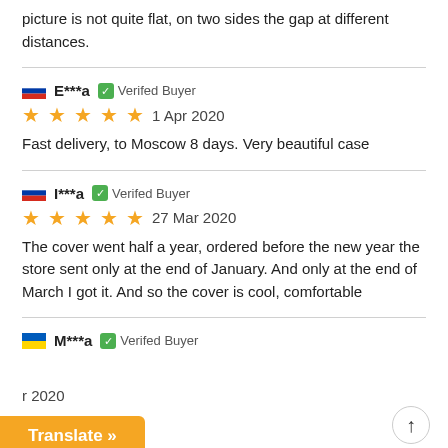picture is not quite flat, on two sides the gap at different distances.
E***a  Verifed Buyer
1 Apr 2020
Fast delivery, to Moscow 8 days. Very beautiful case
I***a  Verifed Buyer
27 Mar 2020
The cover went half a year, ordered before the new year the store sent only at the end of January. And only at the end of March I got it. And so the cover is cool, comfortable
M***a  Verifed Buyer
r 2020
Translate »